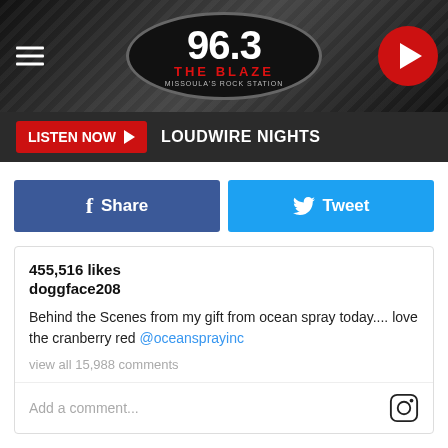[Figure (screenshot): 96.3 The Blaze radio station header logo with hamburger menu and play button]
LISTEN NOW ▶ LOUDWIRE NIGHTS
[Figure (screenshot): Facebook Share and Twitter Tweet social sharing buttons]
455,516 likes
doggface208

Behind the Scenes from my gift from ocean spray today.... love the cranberry red @oceansprayinc

view all 15,988 comments

Add a comment...
WHAT PART OF MISSOULA LIFE DO YOU MISS THE MOST?